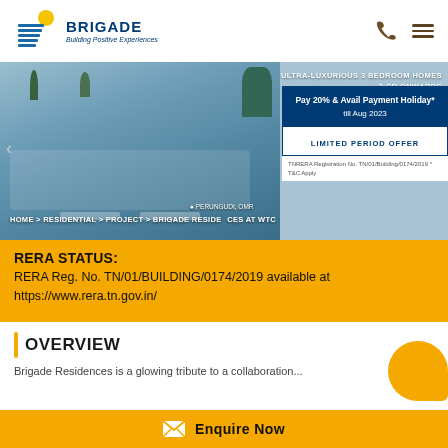[Figure (logo): Brigade Group logo with blue stacked lines, yellow sun motif, bold BRIGADE text, tagline 'Building Positive Experiences']
HOME > RESIDENTIAL > PROJECT > BRIGADE RESIDENCES AT WTC
[Figure (photo): Hero image of luxury residential property with pool terrace area, location pin showing PERUNGUDI, OMR. Overlay: ULTRA-LUXURIOUS 3 BEDROOM HOMES, 3 CR ONWARDS. Promo box: Pay 20% & Avail Payment Holiday* till Aug 2023, LIMITED PERIOD OFFER. TNRERA Registration No. TN/01/Building/0174/2019 * T&C Apply]
RERA STATUS:
RERA Reg. No. TN/01/BUILDING/0174/2019 available at https://www.rera.tn.gov.in/
OVERVIEW
Brigade Residences is a glowing tribute to a collaboration...
Enquire Now